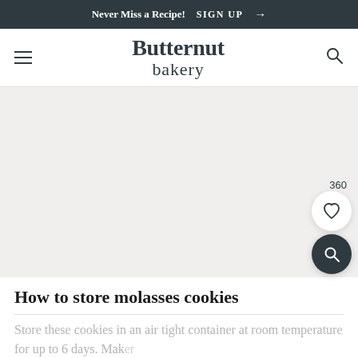Never Miss a Recipe! SIGN UP →
Butternut bakery
[Figure (photo): Large blank/light gray image area representing a recipe photo placeholder]
How to store molasses cookies
Store these cookies in an air tight container at room temperature for up to 6 days. Mak...